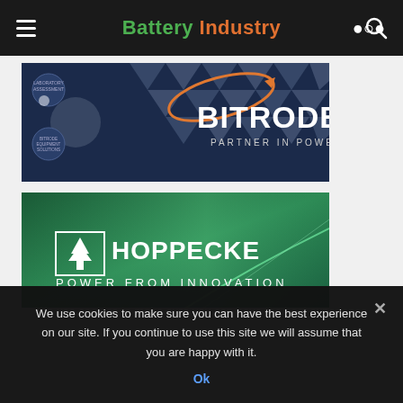Battery Industry
[Figure (logo): Bitrode – Partner in Power advertisement banner on dark navy blue background with geometric triangle pattern and circular diagram on left side]
[Figure (logo): Hoppecke – Power From Innovation advertisement banner on dark green gradient background]
We use cookies to make sure you can have the best experience on our site. If you continue to use this site we will assume that you are happy with it.
Ok